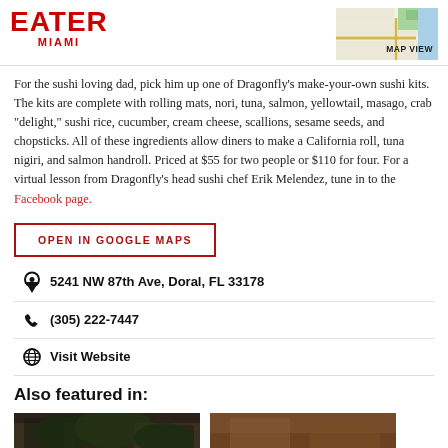EATER MIAMI
[Figure (map): Small map thumbnail with MAP VIEW label]
For the sushi loving dad, pick him up one of Dragonfly’s make-your-own sushi kits. The kits are complete with rolling mats, nori, tuna, salmon, yellowtail, masago, crab “delight,” sushi rice, cucumber, cream cheese, scallions, sesame seeds, and chopsticks. All of these ingredients allow diners to make a California roll, tuna nigiri, and salmon handroll. Priced at $55 for two people or $110 for four. For a virtual lesson from Dragonfly’s head sushi chef Erik Melendez, tune in to the Facebook page.
OPEN IN GOOGLE MAPS
5241 NW 87th Ave, Doral, FL 33178
(305) 222-7447
Visit Website
Also featured in:
[Figure (photo): Two small thumbnail photos side by side]
[Figure (photo): Second thumbnail photo]